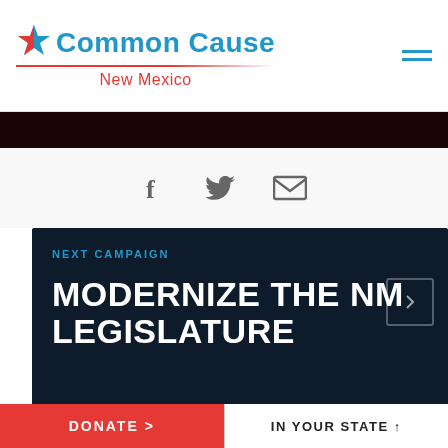Common Cause New Mexico
[Figure (screenshot): Social sharing icons: Facebook, Twitter, Email]
NEXT CAMPAIGN
MODERNIZE THE NM LEGISLATURE
DONATE >
IN YOUR STATE ^